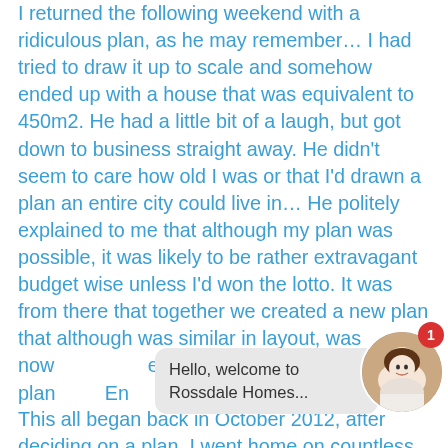I returned the following weekend with a ridiculous plan, as he may remember… I had tried to draw it up to scale and somehow ended up with a house that was equivalent to 450m2. He had a little bit of a laugh, but got down to business straight away. He didn't seem to care how old I was or that I'd drawn a plan an entire city could live in… He politely explained to me that although my plan was possible, it was likely to be rather extravagant budget wise unless I'd won the lotto. It was from there that together we created a new plan that although was similar in layout, was now [partially obscured] s[...] discovered that our plan [...] En[...]
[Figure (other): Chat bubble overlay with text 'Hello, welcome to Rossdale Homes...' and circular avatar photo of a woman with brown hair, with a red notification badge showing '1']
This all began back in October 2012, after deciding on a plan, I went home on countless occasions with different price guides and tweeks to the plan here and there. I was exceptionally happy with how patient, supportive and knowledgeable Rob was and still is. Honestly, if it wasn't for his help and patience, I probably would have sold my block and moved to